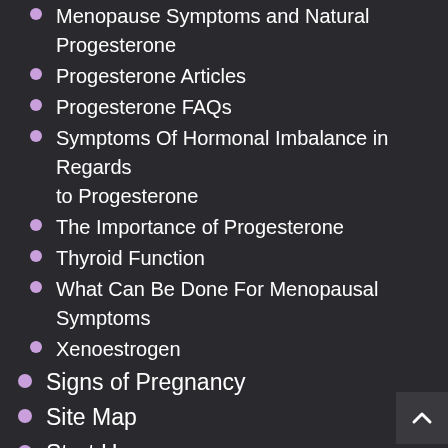Menopause Symptoms and Natural Progesterone
Progesterone Articles
Progesterone FAQs
Symptoms Of Hormonal Imbalance in Regards to Progesterone
The Importance of Progesterone
Thyroid Function
What Can Be Done For Menopausal Symptoms
Xenoestrogen
Signs of Pregnancy
Site Map
Start Here
Step 1 – Diagnosis
Step 2 – Cleanse and Rebuild